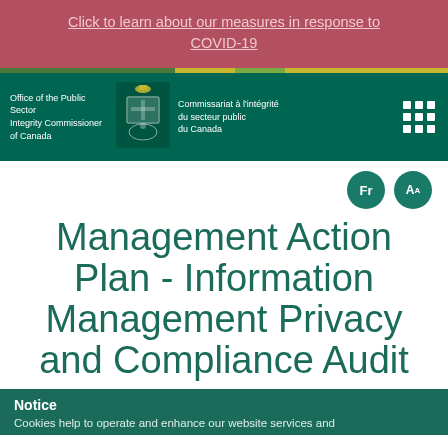Click to learn about our measures in response to COVID-19
[Figure (logo): Office of the Public Sector Integrity Commissioner of Canada / Commissariat à l'intégrité du secteur public du Canada official header with coat of arms logo and navigation menu icon]
Management Action Plan - Information Management Privacy and Compliance Audit
Notice
Cookies help to operate and enhance our website services and